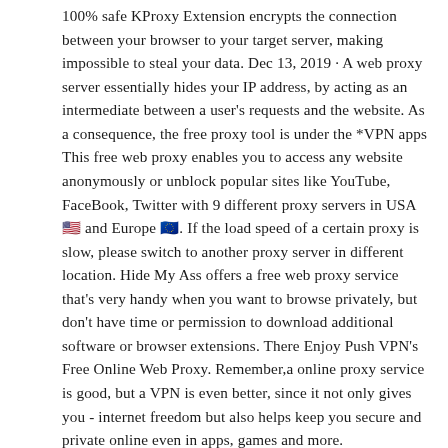100% safe KProxy Extension encrypts the connection between your browser to your target server, making impossible to steal your data. Dec 13, 2019 · A web proxy server essentially hides your IP address, by acting as an intermediate between a user's requests and the website. As a consequence, the free proxy tool is under the *VPN apps This free web proxy enables you to access any website anonymously or unblock popular sites like YouTube, FaceBook, Twitter with 9 different proxy servers in USA 🇺🇸 and Europe 🇪🇺. If the load speed of a certain proxy is slow, please switch to another proxy server in different location. Hide My Ass offers a free web proxy service that's very handy when you want to browse privately, but don't have time or permission to download additional software or browser extensions. There Enjoy Push VPN's Free Online Web Proxy. Remember,a online proxy service is good, but a VPN is even better, since it not only gives you - internet freedom but also helps keep you secure and private online even in apps, games and more.